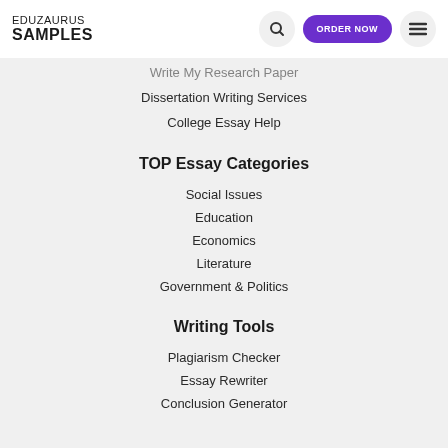EDUZAURUS SAMPLES
Write My Research Paper
Dissertation Writing Services
College Essay Help
TOP Essay Categories
Social Issues
Education
Economics
Literature
Government & Politics
Writing Tools
Plagiarism Checker
Essay Rewriter
Conclusion Generator